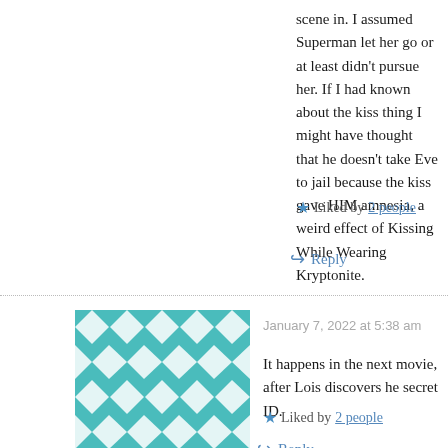scene in. I assumed Superman let her go or at least didn't pursue her. If I had known about the kiss thing I might have thought that he doesn't take Eve to jail because the kiss gave HIM amnesia, a weird effect of Kissing While Wearing Kryptonite.
Liked by 2 people
Reply
January 7, 2022 at 5:38 am
It happens in the next movie, after Lois discovers he secret ID.
Liked by 2 people
Reply